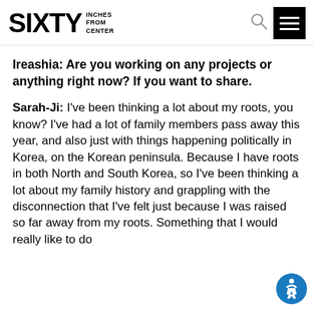SIXTY INCHES FROM CENTER
Ireashia: Are you working on any projects or anything right now? If you want to share.
Sarah-Ji: I've been thinking a lot about my roots, you know? I've had a lot of family members pass away this year, and also just with things happening politically in Korea, on the Korean peninsula. Because I have roots in both North and South Korea, so I've been thinking a lot about my family history and grappling with the disconnection that I've felt just because I was raised so far away from my roots. Something that I would really like to do